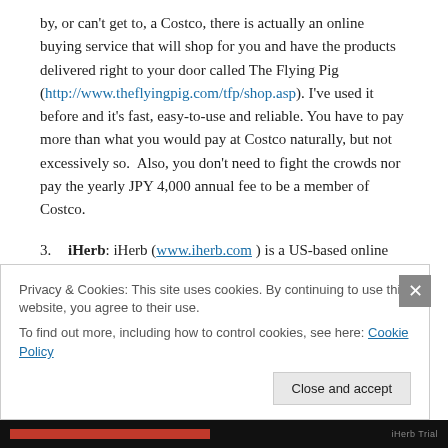by, or can't get to, a Costco, there is actually an online buying service that will shop for you and have the products delivered right to your door called The Flying Pig (http://www.theflyingpig.com/tfp/shop.asp). I've used it before and it's fast, easy-to-use and reliable. You have to pay more than what you would pay at Costco naturally, but not excessively so. Also, you don't need to fight the crowds nor pay the yearly JPY 4,000 annual fee to be a member of Costco.
3. iHerb: iHerb (www.iherb.com) is a US-based online
Privacy & Cookies: This site uses cookies. By continuing to use this website, you agree to their use. To find out more, including how to control cookies, see here: Cookie Policy